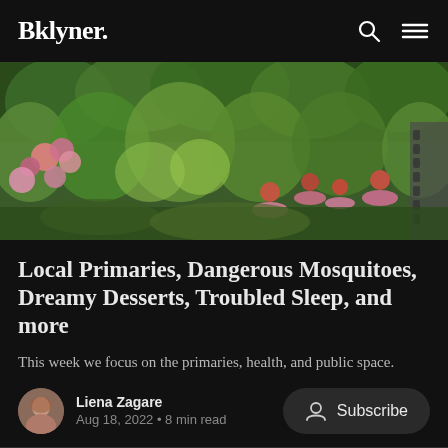Bklyner.
[Figure (photo): Outdoor garden photo showing colorful wildflowers including pink coneflowers and other blooms along a pathway]
Local Primaries, Dangerous Mosquitoes, Dreamy Desserts, Troubled Sleep, and more
This week we focus on the primaries, health, and public space.
Liena Zagare
Aug 18, 2022 • 8 min read